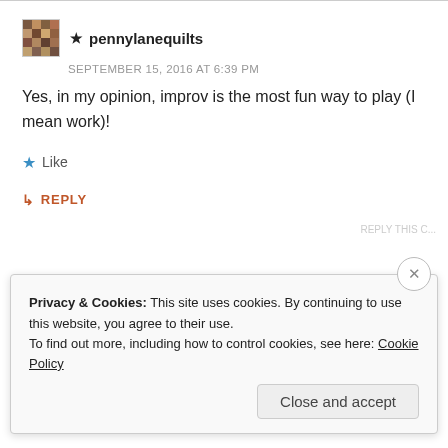★ pennylanequilts
SEPTEMBER 15, 2016 AT 6:39 PM
Yes, in my opinion, improv is the most fun way to play (I mean work)!
★ Like
↳ REPLY
Privacy & Cookies: This site uses cookies. By continuing to use this website, you agree to their use.
To find out more, including how to control cookies, see here: Cookie Policy
Close and accept